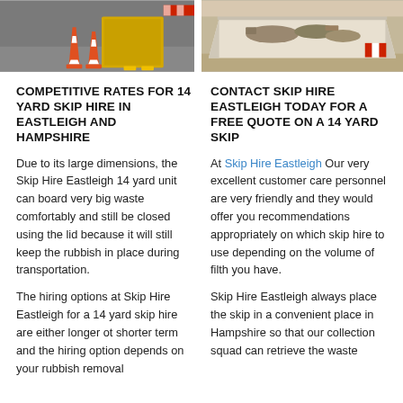[Figure (photo): Photo of traffic cones and yellow construction barriers on left side]
[Figure (photo): Photo of a white skip container filled with waste/rubble on right side]
COMPETITIVE RATES FOR 14 YARD SKIP HIRE IN EASTLEIGH AND HAMPSHIRE
CONTACT SKIP HIRE EASTLEIGH TODAY FOR A FREE QUOTE ON A 14 YARD SKIP
Due to its large dimensions, the Skip Hire Eastleigh 14 yard unit can board very big waste comfortably and still be closed using the lid because it will still keep the rubbish in place during transportation.
At Skip Hire Eastleigh Our very excellent customer care personnel are very friendly and they would offer you recommendations appropriately on which skip hire to use depending on the volume of filth you have.
The hiring options at Skip Hire Eastleigh for a 14 yard skip hire are either longer ot shorter term and the hiring option depends on your rubbish removal
Skip Hire Eastleigh always place the skip in a convenient place in Hampshire so that our collection squad can retrieve the waste